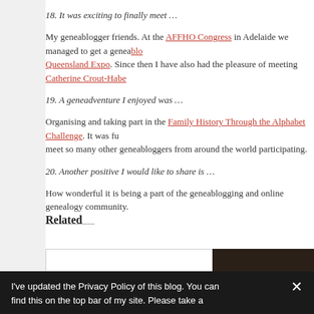18. It was exciting to finally meet …
My geneablogger friends. At the AFFHO Congress in Adelaide we managed to get a geneablogger meetup happening. I also met many at the Queensland Expo. Since then I have also had the pleasure of meeting Catherine Crout-Habel...
19. A geneadventure I enjoyed was …
Organising and taking part in the Family History Through the Alphabet Challenge. It was fun to meet so many other geneabloggers from around the world participating.
20. Another positive I would like to share is …
How wonderful it is being a part of the geneablogging and online genealogy community.
Related
[Figure (screenshot): Loading placeholder with NOW LOADING..... progress bar and navigation arrows]
[Figure (photo): Photo of a glowing light bulb surrounded by crumpled paper]
Accentuate the Positive: Geneablogging 2017
I've Got Nothin' to...
I've updated the Privacy Policy of this blog. You can find this on the top bar of my site. Please take a...